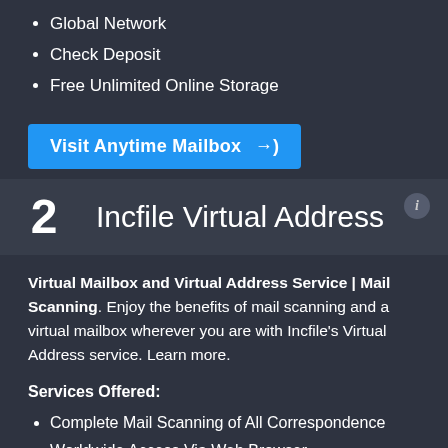Global Network
Check Deposit
Free Unlimited Online Storage
[Figure (other): Blue button labeled 'Visit Anytime Mailbox' with a login arrow icon]
2   Incfile Virtual Address
Virtual Mailbox and Virtual Address Service | Mail Scanning. Enjoy the benefits of mail scanning and a virtual mailbox wherever you are with Incfile's Virtual Address service. Learn more.
Services Offered:
Complete Mail Scanning of All Correspondence
Worldwide Access Via Web Browser
Security and Encryption
Email Notification
No In-Person Access